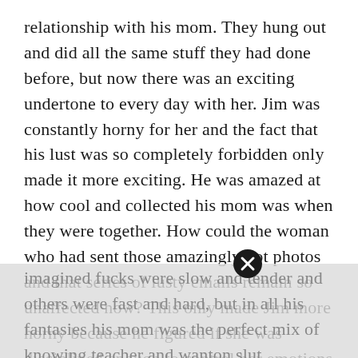relationship with his mom. They hung out and did all the same stuff they had done before, but now there was an exciting undertone to every day with her. Jim was constantly horny for her and the fact that his lust was so completely forbidden only made it more exciting. He was amazed at how cool and collected his mom was when they were together. How could the woman who had sent those amazingly hot photos and that series of lusty emails remain so unaffected now? This only made Jim more horny because he figured if she was disciplined enough to control her emotions and hide her amazingly nasty and teasing side that she must be an absolute animal in bed. During his jerk off sessions he created a vibrant fantasy of how it would feel to fuck her. Some of his imagined fucks were slow and tender and others were fast and hard, but in all his fantasies his mom was the perfect mix of knowing teacher and wanton slut.